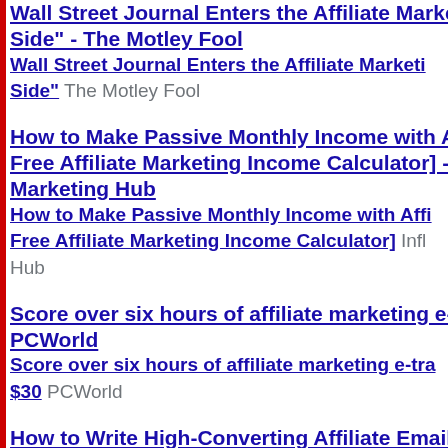Wall Street Journal Enters the Affiliate Marketing Side" - The Motley Fool
Wall Street Journal Enters the Affiliate Marketing Side" The Motley Fool
How to Make Passive Monthly Income with Affiliate [Free Affiliate Marketing Income Calculator] - Influencer Marketing Hub
How to Make Passive Monthly Income with Affiliate [Free Affiliate Marketing Income Calculator] Influencer Marketing Hub
Score over six hours of affiliate marketing e-training for just $30 PCWorld
Score over six hours of affiliate marketing e-training for just $30 PCWorld
How to Write High-Converting Affiliate Emails -